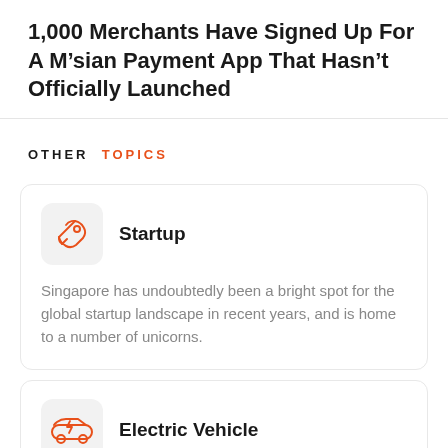1,000 Merchants Have Signed Up For A M’sian Payment App That Hasn’t Officially Launched
OTHER TOPICS
Startup
Singapore has undoubtedly been a bright spot for the global startup landscape in recent years, and is home to a number of unicorns.
Electric Vehicle